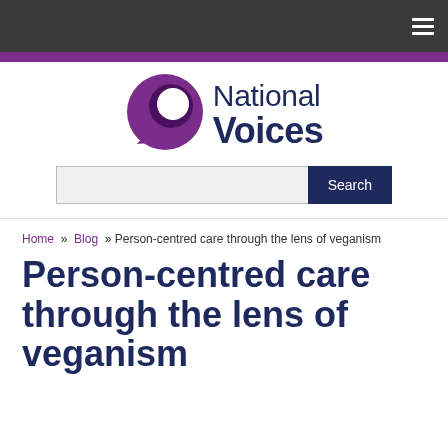National Voices — navigation header with hamburger menu
[Figure (logo): National Voices logo: purple abstract speech bubble icon on left, 'National Voices' text in dark navy on right]
Search
Home » Blog » Person-centred care through the lens of veganism
Person-centred care through the lens of veganism